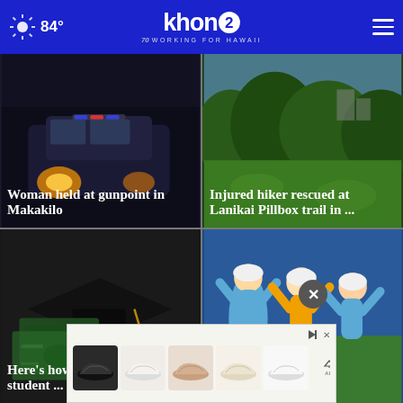84° khon2 WORKING FOR HAWAII
[Figure (photo): Police car with headlights on at night]
Woman held at gunpoint in Makakilo
[Figure (photo): Green hillside landscape near Lanikai Pillbox trail]
Injured hiker rescued at Lanikai Pillbox trail in ...
[Figure (photo): Graduation mortarboard cap with money and tassel]
Here's how soon ... receive student ...
[Figure (photo): Little League baseball players celebrating in light blue and gold uniforms]
Little League ...
[Figure (other): Advertisement banner showing multiple sneaker/shoe products]